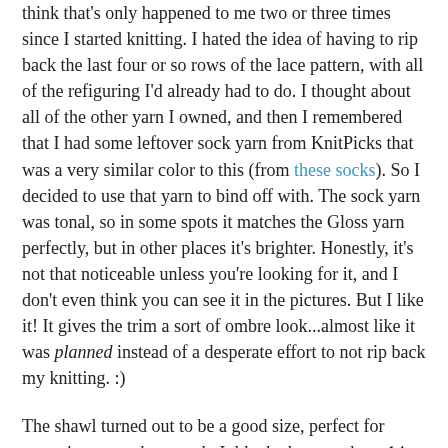think that's only happened to me two or three times since I started knitting. I hated the idea of having to rip back the last four or so rows of the lace pattern, with all of the refiguring I'd already had to do. I thought about all of the other yarn I owned, and then I remembered that I had some leftover sock yarn from KnitPicks that was a very similar color to this (from these socks). So I decided to use that yarn to bind off with. The sock yarn was tonal, so in some spots it matches the Gloss yarn perfectly, but in other places it's brighter. Honestly, it's not that noticeable unless you're looking for it, and I don't even think you can see it in the pictures. But I like it! It gives the trim a sort of ombre look...almost like it was planned instead of a desperate effort to not rip back my knitting. :)
The shawl turned out to be a good size, perfect for wrapping around my neck. It blocked out to about 14 inches deep with a wingspan of about 55 inches. We've had some chilly weather lately, so even though I've packed away my handknits (sad day!) until the fall, I got to wear this to church on Sunday and it was cozy.
Read more...